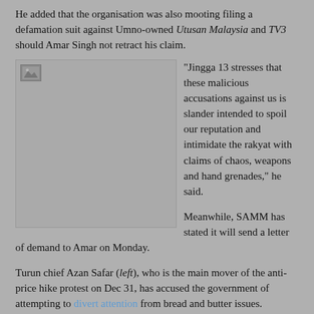He added that the organisation was also mooting filing a defamation suit against Umno-owned Utusan Malaysia and TV3 should Amar Singh not retract his claim.
[Figure (photo): A photo placeholder image (broken/unloaded image icon) on a grey background, approximately 230x240px]
“Jingga 13 stresses that these malicious accusations against us is slander intended to spoil our reputation and intimidate the rakyat with claims of chaos, weapons and hand grenades,” he said.

Meanwhile, SAMM has stated it will send a letter of demand to Amar on Monday.

Turun chief Azan Safar (left), who is the main mover of the anti-price hike protest on Dec 31, has accused the government of attempting to divert attention from bread and butter issues.
Azan has insisted that the protest is solely aimed at putting pressure on the government for increasing prices of electricity, sugar, fuel and other essential items.
Mohd. Kamal bin Abdullah at 10:10 PM